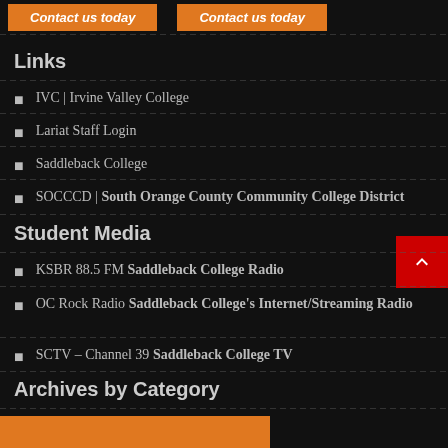[Figure (other): Two orange 'Contact us today' buttons at the top of the page]
Links
IVC | Irvine Valley College
Lariat Staff Login
Saddleback College
SOCCCD | South Orange County Community College District
Student Media
KSBR 88.5 FM Saddleback College Radio
OC Rock Radio Saddleback College's Internet/Streaming Radio
SCTV – Channel 39 Saddleback College TV
Archives by Category
[Figure (other): Orange box at bottom left, partially visible, appears to be a dropdown or category selector]